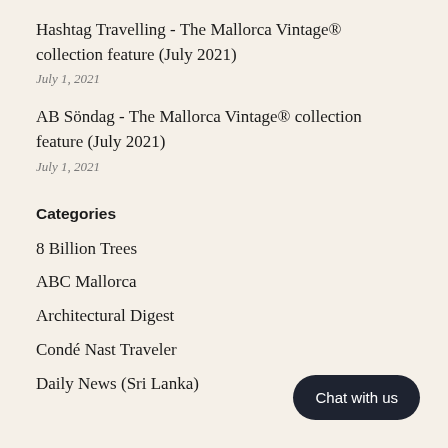Hashtag Travelling - The Mallorca Vintage® collection feature (July 2021)
July 1, 2021
AB Söndag - The Mallorca Vintage® collection feature (July 2021)
July 1, 2021
Categories
8 Billion Trees
ABC Mallorca
Architectural Digest
Condé Nast Traveler
Daily News (Sri Lanka)